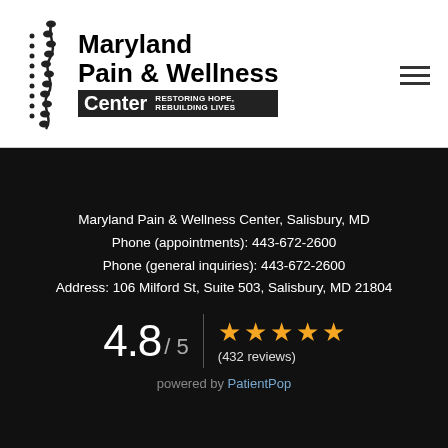[Figure (logo): Maryland Pain & Wellness Center logo with spine graphic and tagline RESTORING HOPE, REBUILDING LIVES]
Maryland Pain & Wellness Center, Salisbury, MD
Phone (appointments): 443-672-2600
Phone (general inquiries): 443-672-2600
Address: 106 Milford St, Suite 503, Salisbury, MD 21804
4.8 / 5  ★★★★★  (432 reviews)
powered by PatientPop